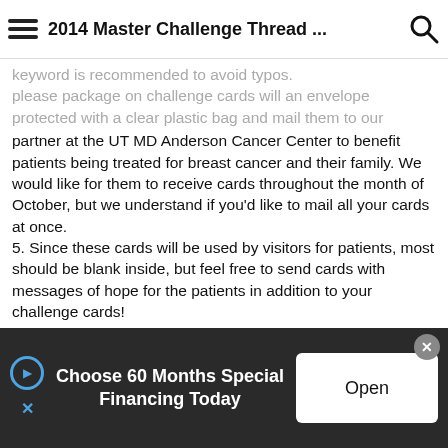2014 Master Challenge Thread ...
keyword is recommended to avoid typos. please package on challenge cards will an envelope protected with a clear plastic bag and mail them to our partner at the UT MD Anderson Cancer Center to benefit patients being treated for breast cancer and their family. We would like for them to receive cards throughout the month of October, but we understand if you'd like to mail all your cards at once.
5. Since these cards will be used by visitors for patients, most should be blank inside, but feel free to send cards with messages of hope for the patients in addition to your challenge cards!
The Department of Volunteer Services ◆ Unit 115
Attn: Maggi Suttles
UT MD Anderson Cancer Center
[Figure (screenshot): Advertisement banner at the bottom: dark background with text 'Choose 60 Months Special Financing Today' and an 'Open' button on the right. Close (x) button at top right.]